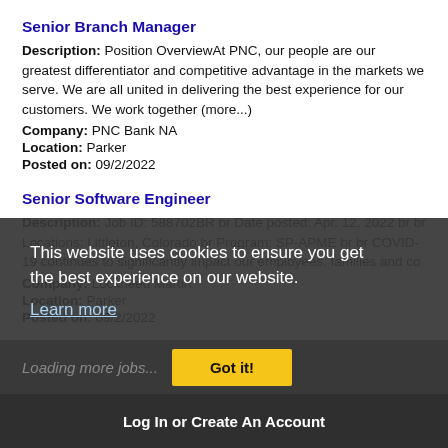Senior Branch Manager
Description: Position OverviewAt PNC, our people are our greatest differentiator and competitive advantage in the markets we serve. We are all united in delivering the best experience for our customers. We work together (more...)
Company: PNC Bank NA
Location: Parker
Posted on: 09/2/2022
Senior Software Engineer
Description: Job ID: 588702BR br Date posted: Apr. 12, 2022 br br Locations: Littleton, Colorado br Program: SP-APME br br COVID-19 continues to significantly impact our employees, families and co
Company: Lockheed Martin
Location: Parker
Posted on: 09/2/2022
This website uses cookies to ensure you get the best experience on our website. Learn more
Loading more jobs...  Got it!
Log In or Create An Account